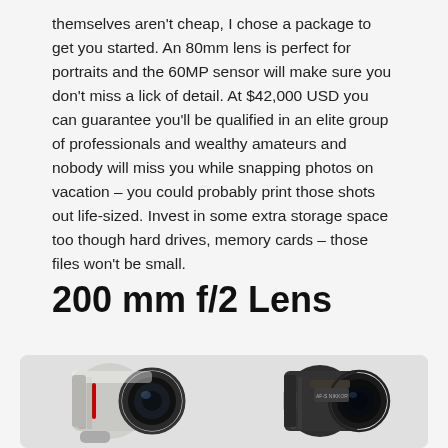themselves aren't cheap, I chose a package to get you started. An 80mm lens is perfect for portraits and the 60MP sensor will make sure you don't miss a lick of detail. At $42,000 USD you can guarantee you'll be qualified in an elite group of professionals and wealthy amateurs and nobody will miss you while snapping photos on vacation – you could probably print those shots out life-sized. Invest in some extra storage space too though hard drives, memory cards – those files won't be small.
200 mm f/2 Lens
[Figure (photo): Two camera lenses side by side: a white Canon 200mm f/2 lens on the left and a black Nikon 200mm f/2 lens on the right, both shown at an angle on a light gray background.]